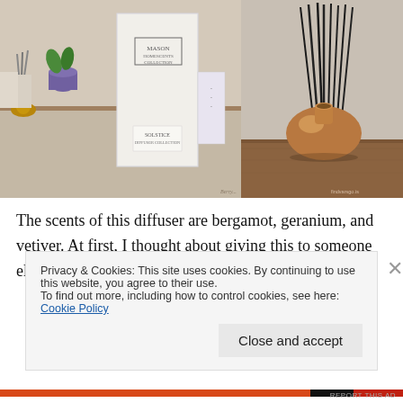[Figure (photo): Left photo: Mason Homescents Collection diffuser box with 'Solstice' label in plastic wrap, on a shelf background. Right photo: Reed diffuser with dark sticks in a round copper/bronze vase on a wooden surface.]
The scents of this diffuser are bergamot, geranium, and vetiver. At first, I thought about giving this to someone else because I don't have
Privacy & Cookies: This site uses cookies. By continuing to use this website, you agree to their use.
To find out more, including how to control cookies, see here: Cookie Policy
Close and accept